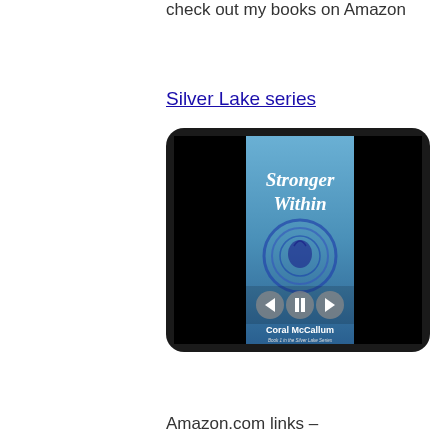check out my books on Amazon
Silver Lake series
[Figure (photo): Book cover displayed on a tablet device: 'Stronger Within' by Coral McCallum, Book 1 in the Silver Lake Series. Blue cover with Celtic knotwork dragon design. Media player controls visible.]
Amazon.com links –